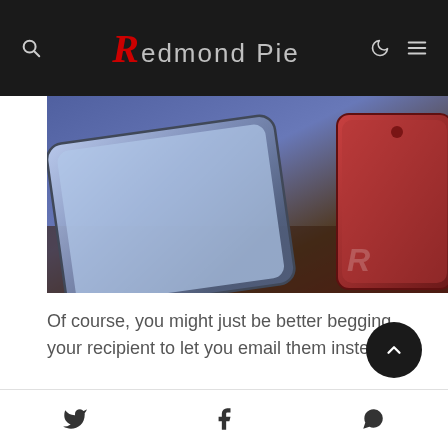Redmond Pie
[Figure (photo): Two smartphones on a wooden surface with blue/purple lighting — a dark-edged device on the left and a red-cased iPhone on the right, with a Redmond Pie watermark.]
Of course, you might just be better begging your recipient to let you email them instead!
Social share icons: Twitter, Facebook, WhatsApp